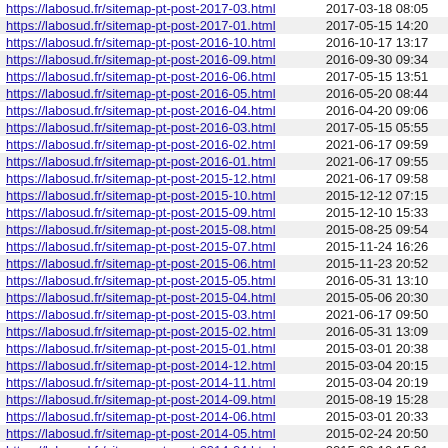| URL | Date |
| --- | --- |
| https://labosud.fr/sitemap-pt-post-2017-03.html | 2017-03-18 08:05 |
| https://labosud.fr/sitemap-pt-post-2017-01.html | 2017-05-15 14:20 |
| https://labosud.fr/sitemap-pt-post-2016-10.html | 2016-10-17 13:17 |
| https://labosud.fr/sitemap-pt-post-2016-09.html | 2016-09-30 09:34 |
| https://labosud.fr/sitemap-pt-post-2016-06.html | 2017-05-15 13:51 |
| https://labosud.fr/sitemap-pt-post-2016-05.html | 2016-05-20 08:44 |
| https://labosud.fr/sitemap-pt-post-2016-04.html | 2016-04-20 09:06 |
| https://labosud.fr/sitemap-pt-post-2016-03.html | 2017-05-15 05:55 |
| https://labosud.fr/sitemap-pt-post-2016-02.html | 2021-06-17 09:59 |
| https://labosud.fr/sitemap-pt-post-2016-01.html | 2021-06-17 09:55 |
| https://labosud.fr/sitemap-pt-post-2015-12.html | 2021-06-17 09:58 |
| https://labosud.fr/sitemap-pt-post-2015-10.html | 2015-12-12 07:15 |
| https://labosud.fr/sitemap-pt-post-2015-09.html | 2015-12-10 15:33 |
| https://labosud.fr/sitemap-pt-post-2015-08.html | 2015-08-25 09:54 |
| https://labosud.fr/sitemap-pt-post-2015-07.html | 2015-11-24 16:26 |
| https://labosud.fr/sitemap-pt-post-2015-06.html | 2015-11-23 20:52 |
| https://labosud.fr/sitemap-pt-post-2015-05.html | 2016-05-31 13:10 |
| https://labosud.fr/sitemap-pt-post-2015-04.html | 2015-05-06 20:30 |
| https://labosud.fr/sitemap-pt-post-2015-03.html | 2021-06-17 09:50 |
| https://labosud.fr/sitemap-pt-post-2015-02.html | 2016-05-31 13:09 |
| https://labosud.fr/sitemap-pt-post-2015-01.html | 2015-03-01 20:38 |
| https://labosud.fr/sitemap-pt-post-2014-12.html | 2015-03-04 20:15 |
| https://labosud.fr/sitemap-pt-post-2014-11.html | 2015-03-04 20:19 |
| https://labosud.fr/sitemap-pt-post-2014-09.html | 2015-08-19 15:28 |
| https://labosud.fr/sitemap-pt-post-2014-06.html | 2015-03-01 20:33 |
| https://labosud.fr/sitemap-pt-post-2014-05.html | 2015-02-24 20:50 |
| https://labosud.fr/sitemap-pt-post-2014-04.html | 2015-03-10 15:01 |
| https://labosud.fr/sitemap-pt-post-2014-03.html | 2015-03-01 20:05 |